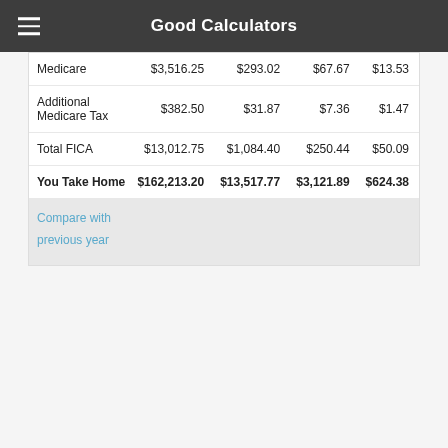Good Calculators
|  | Annual | Monthly | Weekly | Daily |
| --- | --- | --- | --- | --- |
| Medicare | $3,516.25 | $293.02 | $67.67 | $13.53 |
| Additional Medicare Tax | $382.50 | $31.87 | $7.36 | $1.47 |
| Total FICA | $13,012.75 | $1,084.40 | $250.44 | $50.09 |
| You Take Home | $162,213.20 | $13,517.77 | $3,121.89 | $624.38 |
Compare with previous year